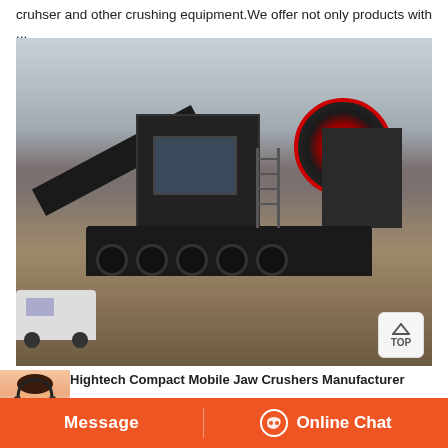cruhser and other crushing equipment.We offer not only products with ...
[Figure (photo): A large mobile jaw crusher machine on a construction/demolition site, mounted on a wheeled chassis. The machine is dark/black colored with a red circular flywheel visible on the right side. A white van is visible to the left of the machine. The background shows a misty industrial setting.]
Hightech Compact Mobile Jaw Crushers Manufacturer
and demolition waste (CDW) is one of the heaviest and most voluminous